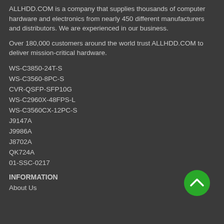ALLHDD.COM is a company that supplies thousands of computer hardware and electronics from nearly 450 different manufacturers and distributors. We are experienced in our business.
Over 180,000 customers around the world trust ALLHDD.COM to deliver mission-critical hardware.
WS-C3850-24T-S
WS-C3560-8PC-S
CVR-QSFP-SFP10G
WS-C2960X-48FPS-L
WS-C3560CX-12PC-S
J9147A
J9986A
J8702A
QK724A
01-SSC-0217
INFORMATION
About Us
[Figure (other): Green circular button with upward chevron arrow icon]